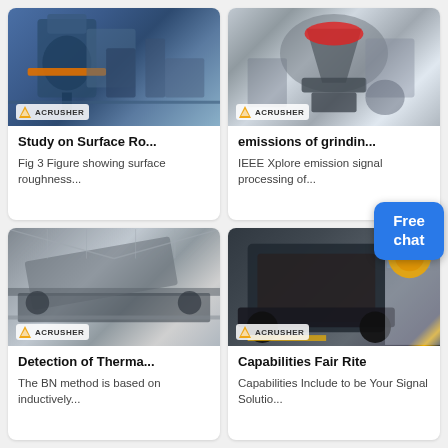[Figure (photo): Industrial crushing/grinding machine (blue/orange, Acrusher branded) photographed from below at industrial site]
Study on Surface Ro...
Fig 3 Figure showing surface roughness...
[Figure (photo): Cone crusher machine in industrial building (Acrusher branded), grey equipment with red band]
emissions of grindin...
IEEE Xplore emission signal processing of...
[Figure (photo): Large mobile conveyor/screening machine in industrial hall (Acrusher branded)]
Detection of Therma...
The BN method is based on inductively...
[Figure (photo): Large black industrial machine/crusher in modern facility (Acrusher branded) with yellow circular logo overlay]
Capabilities Fair Rite
Capabilities Include to be Your Signal Solutio...